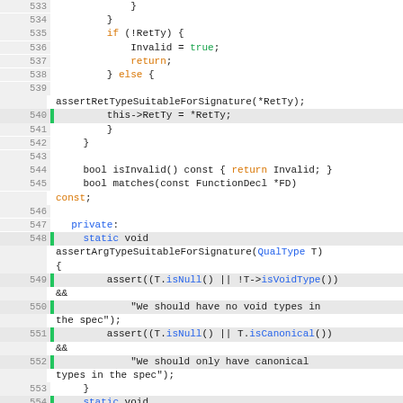[Figure (screenshot): Source code screenshot showing C++ code lines 533-556, with syntax highlighting: line numbers in gray left column, green vertical bar markers, keywords in orange/blue/green colors on white background.]